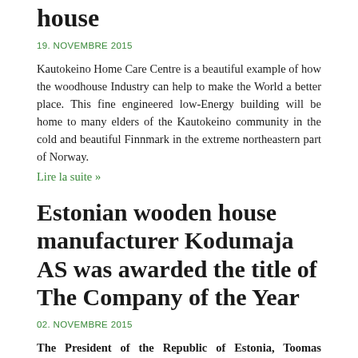house
19. NOVEMBRE 2015
Kautokeino Home Care Centre is a beautiful example of how the woodhouse Industry can help to make the World a better place. This fine engineered low-Energy building will be home to many elders of the Kautokeino community in the cold and beautiful Finnmark in the extreme northeastern part of Norway.
Lire la suite »
Estonian wooden house manufacturer Kodumaja AS was awarded the title of The Company of the Year
02. NOVEMBRE 2015
The President of the Republic of Estonia, Toomas Hendrik Ilves, declared Kodumaja AS the best company of the country. The company manufactures timber-framed buildings...